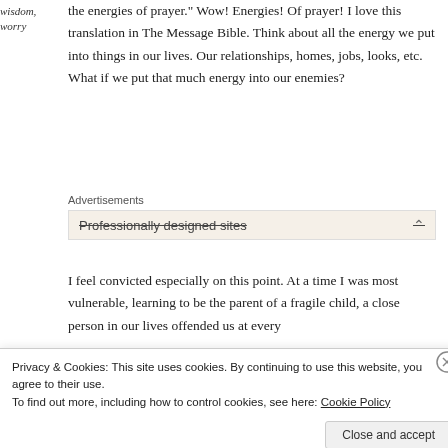wisdom, worry
the energies of prayer." Wow! Energies! Of prayer! I love this translation in The Message Bible. Think about all the energy we put into things in our lives. Our relationships, homes, jobs, looks, etc. What if we put that much energy into our enemies?
Advertisements
[Figure (screenshot): Advertisement banner showing 'Professionally designed sites' with a strikethrough style and a collapse arrow]
I feel convicted especially on this point. At a time I was most vulnerable, learning to be the parent of a fragile child, a close person in our lives offended us at every
Privacy & Cookies: This site uses cookies. By continuing to use this website, you agree to their use.
To find out more, including how to control cookies, see here: Cookie Policy
Close and accept